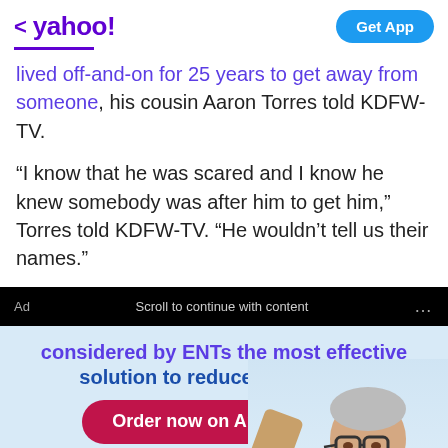< yahoo! | Get App
lived off-and-on for 25 years to get away from someone, his cousin Aaron Torres told KDFW-TV.
“I know that he was scared and I know he knew somebody was after him to get him,” Torres told KDFW-TV. “He wouldn’t tell us their names.”
Ad   Scroll to continue with content   ...
[Figure (screenshot): Advertisement banner with text: considered by ENTs the most effective solution to reduce ear ringing+. Red button: Order now on Amazon. Image of older man with glasses on the right side.]